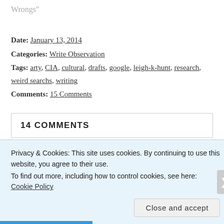Wrongs"
Date: January 13, 2014
Categories: Write Observation
Tags: arty, CIA, cultural, drafts, google, leigh-k-hunt, research, weird searchs, writing
Comments: 15 Comments
14 COMMENTS
Privacy & Cookies: This site uses cookies. By continuing to use this website, you agree to their use.
To find out more, including how to control cookies, see here: Cookie Policy